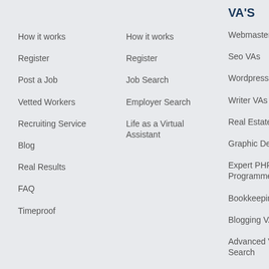How it works
Register
Post a Job
Vetted Workers
Recruiting Service
Blog
Real Results
FAQ
Timeproof
How it works
Register
Job Search
Employer Search
Life as a Virtual Assistant
VA'S
Webmaster VAs
Seo VAs
Wordpress Experts
Writer VAs
Real Estate VAs
Graphic Design VAs
Expert PHP Programmers
Bookkeeping VAs
Blogging VAs
Advanced VA Search